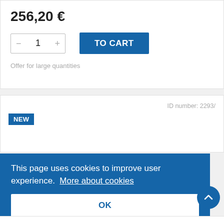256,20 €
TO CART
Offer for large quantities
ID number: 2293/
NEW
This page uses cookies to improve user experience.  More about cookies
OK